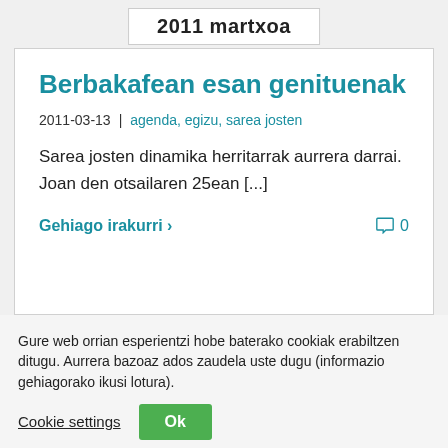2011 martxoa
Berbakafean esan genituenak
2011-03-13 | agenda, egizu, sarea josten
Sarea josten dinamika herritarrak aurrera darrai. Joan den otsailaren 25ean [...]
Gehiago irakurri >
0
Gure web orrian esperientzi hobe baterako cookiak erabiltzen ditugu. Aurrera bazoaz ados zaudela uste dugu (informazio gehiagorako ikusi lotura).
Cookie settings
Ok